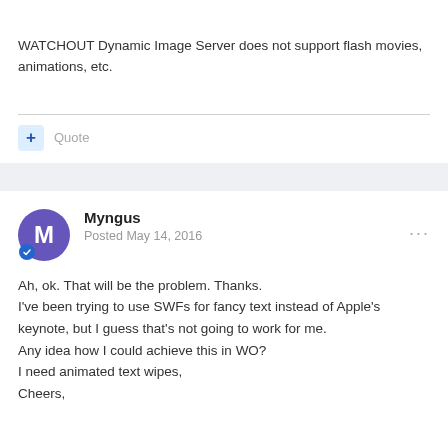WATCHOUT Dynamic Image Server does not support flash movies, animations, etc.
Quote
Myngus
Posted May 14, 2016
Ah, ok. That will be the problem. Thanks.
I've been trying to use SWFs for fancy text instead of Apple's keynote, but I guess that's not going to work for me.
Any idea how I could achieve this in WO?
I need animated text wipes,
Cheers,